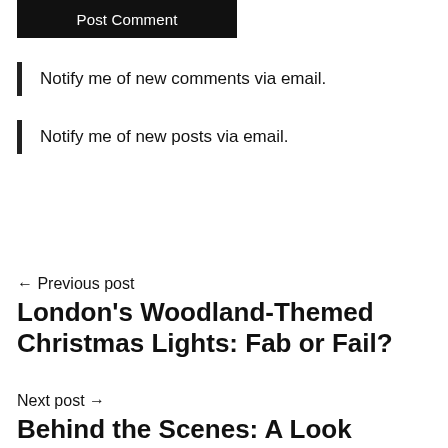Post Comment
Notify me of new comments via email.
Notify me of new posts via email.
← Previous post
London's Woodland-Themed Christmas Lights: Fab or Fail?
Next post →
Behind the Scenes: A Look Inside